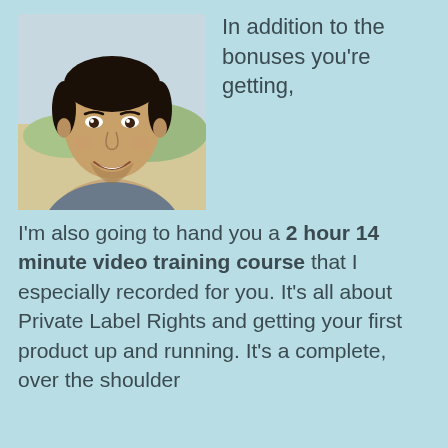[Figure (photo): Headshot of a smiling young Asian man with dark hair, outdoors at a beach/sand dunes, wearing a grey jacket]
In addition to the bonuses you're getting, I'm also going to hand you a 2 hour 14 minute video training course that I especially recorded for you. It's all about Private Label Rights and getting your first product up and running. It's a complete, over the shoulder